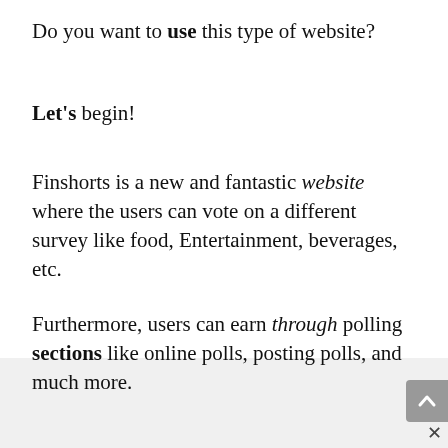Do you want to use this type of website?
Let's begin!
Finshorts is a new and fantastic website where the users can vote on a different survey like food, Entertainment, beverages, etc.
Furthermore, users can earn through polling sections like online polls, posting polls, and much more.